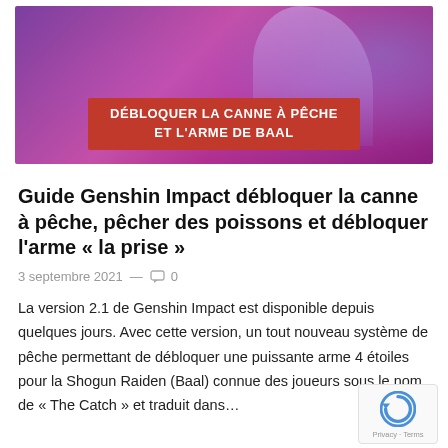[Figure (illustration): Game screenshot banner for Genshin Impact featuring a purple/magenta background with a character holding a spear, and a red banner overlay with text 'DÉBLOQUER LA CANNE À PÊCHE ET L'ARME DE BAAL']
Guide Genshin Impact débloquer la canne à pêche, pêcher des poissons et débloquer l'arme « la prise »
3 septembre 2021 — 0
La version 2.1 de Genshin Impact est disponible depuis quelques jours. Avec cette version, un tout nouveau système de pêche permettant de débloquer une puissante arme 4 étoiles pour la Shogun Raiden (Baal) connue des joueurs sous le nom de « The Catch » et traduit dans…